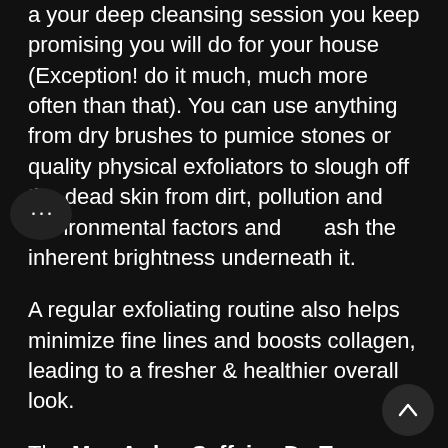a your deep cleansing session you keep promising you will do for your house (Exception! do it much, much more often than that). You can use anything from dry brushes to pumice stones or quality physical exfoliators to slough off the dead skin from dirt, pollution and environmental factors and unleash the inherent brightness underneath it.
A regular exfoliating routine also helps minimize fine lines and boosts collagen, leading to a fresher & healthier overall look.
The Man Arden Caffeine De-Tan Coffee Face Scrub delivers some great results. It is a novel formulation consisting of naturally exfoliating, moisturizing and botanical extracts that exfoliate and protect the male skin darkened by overexposure to sunlight and pollution. It helps restore the natural skin tone by buffing away dullness. The perfectly sized walnut